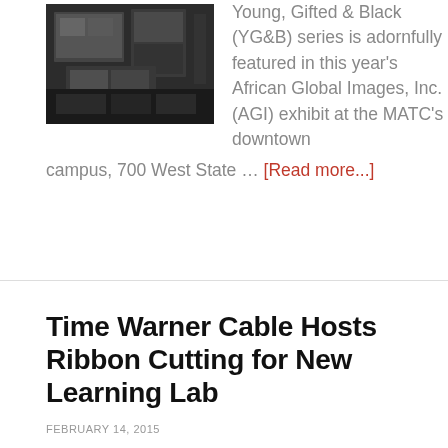[Figure (photo): Photo of display boards with photographs and printed materials on a dark table]
Young, Gifted & Black (YG&B) series is adornfully featured in this year's African Global Images, Inc. (AGI) exhibit at the MATC's downtown campus, 700 West State … [Read more...]
Time Warner Cable Hosts Ribbon Cutting for New Learning Lab
FEBRUARY 14, 2015
[Figure (photo): Group photo of people standing in front of a blue backdrop with logos]
On Feb. 5, the Boys & Girls Clubs of Greater